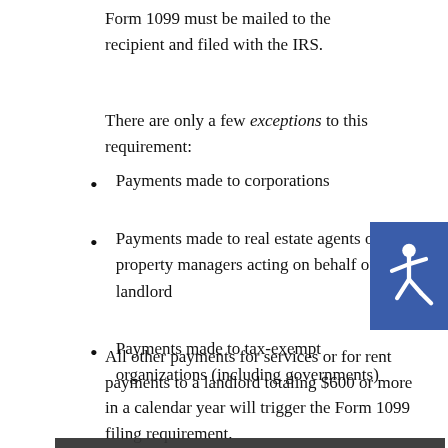Form 1099 must be mailed to the recipient and filed with the IRS.
There are only a few exceptions to this requirement:
Payments made to corporations
Payments made to real estate agents or property managers acting on behalf of a landlord
Payments made to tax-exempt organizations (including governments)
Payments made via a third-party payment network (credit card, debit card, or PayPal-type service, but this does not include online bill payments)
[Figure (other): Blue accessibility icon with wheelchair symbol]
Our website uses cookies, mainly from 3rd party services. Define your Privacy Preferences and/or agree to our use of cookies.
PRIVACY PREFERENCES   I AGREE
All other payments for services or for rent payments to a landlord totaling $600 or more in a calendar year will trigger the Form 1099 filing requirement.